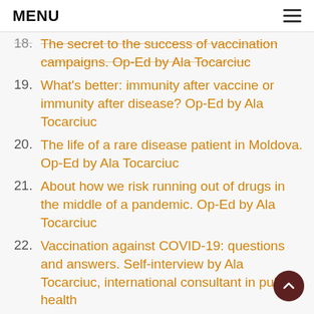MENU
18. The secret to the success of vaccination campaigns. Op-Ed by Ala Tocarciuc
19. What's better: immunity after vaccine or immunity after disease? Op-Ed by Ala Tocarciuc
20. The life of a rare disease patient in Moldova. Op-Ed by Ala Tocarciuc
21. About how we risk running out of drugs in the middle of a pandemic. Op-Ed by Ala Tocarciuc
22. Vaccination against COVID-19: questions and answers. Self-interview by Ala Tocarciuc, international consultant in public health
23. Post COVID reflections from the plane. OP-ED Ala Tocarciuc